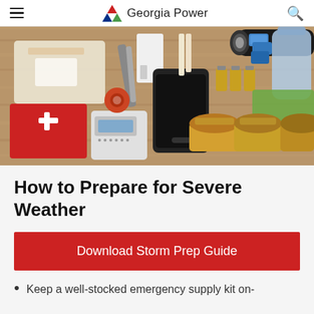Georgia Power
[Figure (photo): Overhead flat-lay photo of emergency supply kit items on a wooden surface, including a first aid kit, bandages, radio, smartphone, flashlight, batteries, water bottles, canned jars, and other survival supplies.]
How to Prepare for Severe Weather
Download Storm Prep Guide
Keep a well-stocked emergency supply kit on-